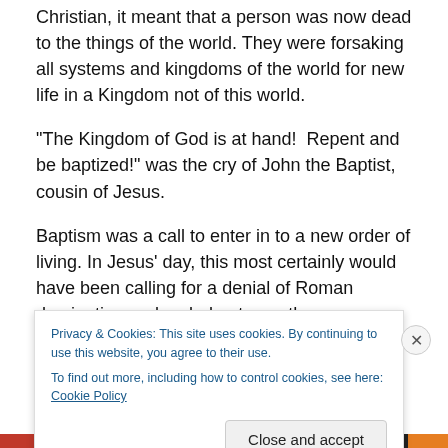Christian, it meant that a person was now dead to the things of the world. They were forsaking all systems and kingdoms of the world for new life in a Kingdom not of this world.
“The Kingdom of God is at hand!  Repent and be baptized!” was the cry of John the Baptist, cousin of Jesus.
Baptism was a call to enter in to a new order of living. In Jesus’ day, this most certainly would have been calling for a denial of Roman domination and a pledge to another
Privacy & Cookies: This site uses cookies. By continuing to use this website, you agree to their use.
To find out more, including how to control cookies, see here: Cookie Policy
Close and accept